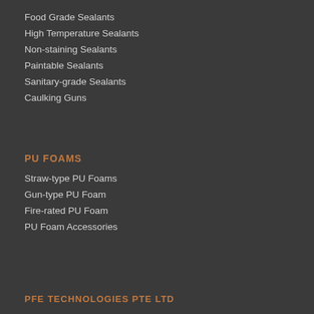Food Grade Sealants
High Temperature Sealants
Non-staining Sealants
Paintable Sealants
Sanitary-grade Sealants
Caulking Guns
PU FOAMS
Straw-type PU Foams
Gun-type PU Foam
Fire-rated PU Foam
PU Foam Accessories
PFE TECHNOLOGIES PTE LTD